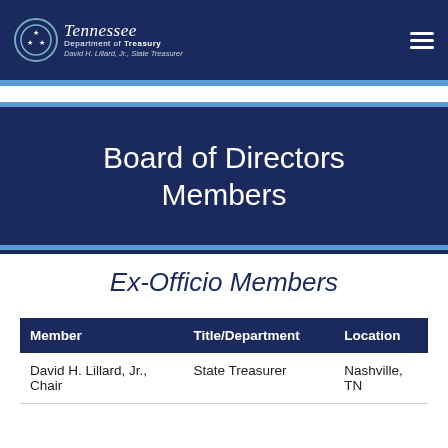Tennessee Department of Treasury | David H. Lillard, Jr., State Treasurer
Board of Directors Members
Ex-Officio Members
| Member | Title/Department | Location |
| --- | --- | --- |
| David H. Lillard, Jr., Chair | State Treasurer | Nashville, TN |